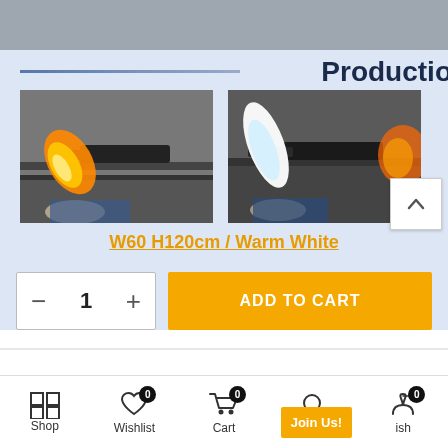[Figure (photo): E-commerce product page screenshot showing two photos of a flame/torch manufacturing process, a product variant selector link, quantity selector, add to cart button, and bottom navigation bar]
Productio
W60 H120cm / Warm White
ADD TO CART
Shop
Wishlist
Cart
Search
Join Us!